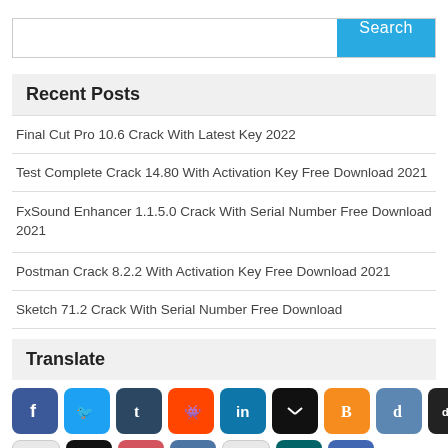Search
Recent Posts
Final Cut Pro 10.6 Crack With Latest Key 2022
Test Complete Crack 14.80 With Activation Key Free Download 2021
FxSound Enhancer 1.1.5.0 Crack With Serial Number Free Download 2021
Postman Crack 8.2.2 With Activation Key Free Download 2021
Sketch 71.2 Crack With Serial Number Free Download
Translate
[Figure (infographic): Row of social media sharing icons: Facebook, Twitter, Tumblr, Reddit, LinkedIn, Mix, Blogger, Digg, Digg variant, Buffer, Flipboard in row 1; Google+, Instapaper, Pocket, VK, Grid, Xing, AddThis in row 2]